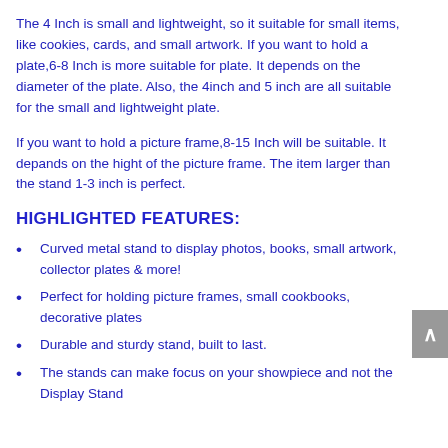The 4 Inch is small and lightweight, so it suitable for small items, like cookies, cards, and small artwork. If you want to hold a plate,6-8 Inch is more suitable for plate. It depends on the diameter of the plate. Also, the 4inch and 5 inch are all suitable for the small and lightweight plate.
If you want to hold a picture frame,8-15 Inch will be suitable. It depands on the hight of the picture frame. The item larger than the stand 1-3 inch is perfect.
HIGHLIGHTED FEATURES:
Curved metal stand to display photos, books, small artwork, collector plates & more!
Perfect for holding picture frames, small cookbooks, decorative plates
Durable and sturdy stand, built to last.
The stands can make focus on your showpiece and not the Display Stand